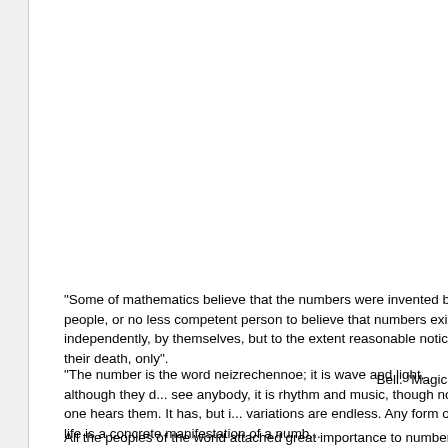"Some of mathematics believe that the numbers were invented by people, or no less competent person to believe that numbers exist independently, by themselves, but to the extent reasonable notice of their death, only". Bell. "Magic N...
"The number is the word neizrechennoe; it is wave and light, although they do not see anybody, it is rhythm and music, though no one hears them. It has, but its variations are endless. Any form of life is a concrete manifestation of a numb... Maurice Dryuon "Memoirs...
All the peoples of the world attached great importance to numbers. Pythagor believed that everything is a number and this number is divine. Each numb...